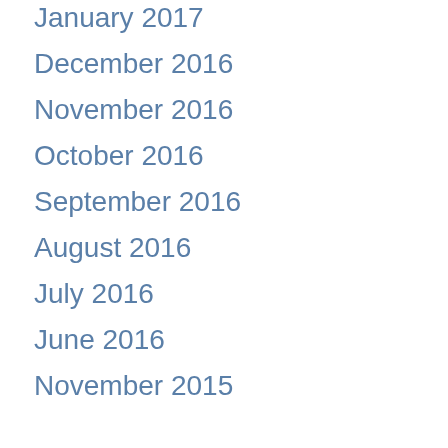January 2017
December 2016
November 2016
October 2016
September 2016
August 2016
July 2016
June 2016
November 2015